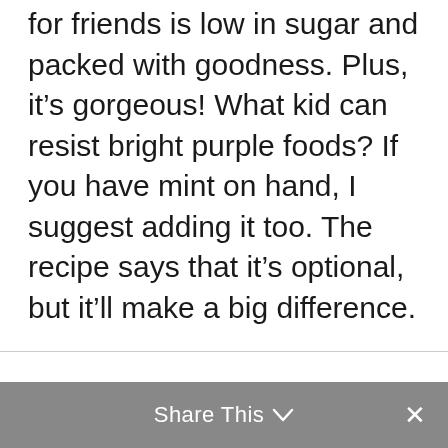for friends is low in sugar and packed with goodness. Plus, it's gorgeous! What kid can resist bright purple foods? If you have mint on hand, I suggest adding it too. The recipe says that it's optional, but it'll make a big difference.
Share This ∨  ✕